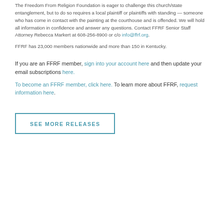The Freedom From Religion Foundation is eager to challenge this church/state entanglement, but to do so requires a local plaintiff or plaintiffs with standing — someone who has come in contact with the painting at the courthouse and is offended. We will hold all information in confidence and answer any questions. Contact FFRF Senior Staff Attorney Rebecca Markert at 608-256-8900 or c/o info@ffrf.org.
FFRF has 23,000 members nationwide and more than 150 in Kentucky.
If you are an FFRF member, sign into your account here and then update your email subscriptions here.
To become an FFRF member, click here. To learn more about FFRF, request information here.
SEE MORE RELEASES